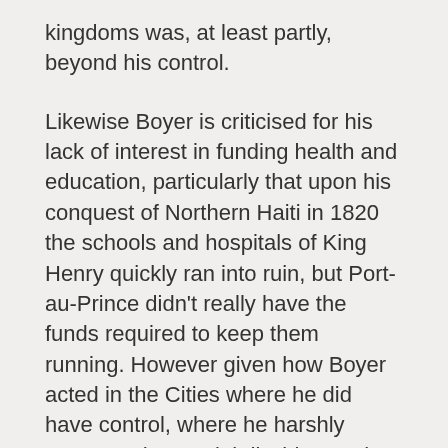kingdoms was, at least partly, beyond his control.
Likewise Boyer is criticised for his lack of interest in funding health and education, particularly that upon his conquest of Northern Haiti in 1820 the schools and hospitals of King Henry quickly ran into ruin, but Port-au-Prince didn't really have the funds required to keep them running. However given how Boyer acted in the Cities where he did have control, where he harshly oppressed potential dissidents, shut down privately run papers and schools so they couldn't ferment revolt and created a caste of privileged coloured land owners and army officers who